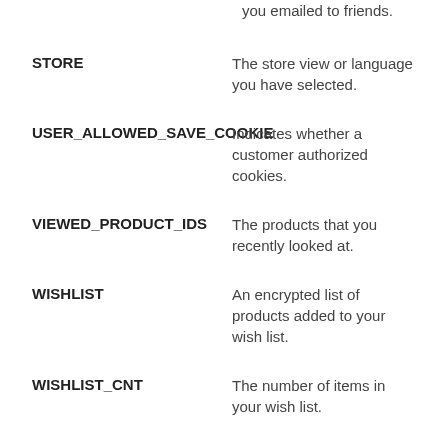you emailed to friends.
STORE — The store view or language you have selected.
USER_ALLOWED_SAVE_COOKIE — Indicates whether a customer authorized cookies.
VIEWED_PRODUCT_IDS — The products that you recently looked at.
WISHLIST — An encrypted list of products added to your wish list.
WISHLIST_CNT — The number of items in your wish list.
Online Account Registration